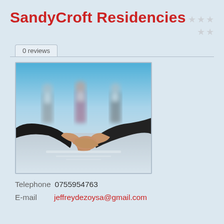SandyCroft Residencies
0 reviews
[Figure (photo): Business handshake in foreground with three blurred business people standing in the background, blue-tinted professional setting.]
Telephone  0755954763
E-mail  jeffreydezoysa@gmail.com